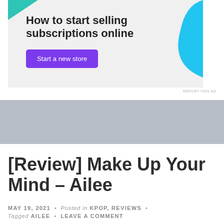[Figure (other): Advertisement banner for selling subscriptions online. Light gray background with teal corner accent top-left, blue curved shape top-right. Text: 'How to start selling subscriptions online' with a purple 'Start a new store' button.]
REPORT THIS AD
[Figure (other): Gray horizontal band / decorative separator]
[Review] Make Up Your Mind – Ailee
MAY 19, 2021 • Posted in KPOP, REVIEWS • Tagged AILEE • LEAVE A COMMENT